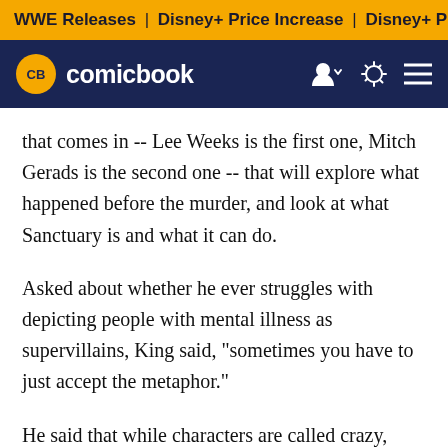WWE Releases | Disney+ Price Increase | Disney+ Price Incre
CB comicbook
that comes in -- Lee Weeks is the first one, Mitch Gerads is the second one -- that will explore what happened before the murder, and look at what Sanctuary is and what it can do.
Asked about whether he ever struggles with depicting people with mental illness as supervillains, King said, "sometimes you have to just accept the metaphor."
He said that while characters are called crazy, they are really evil in most cases, and so Batman is not about mental health.